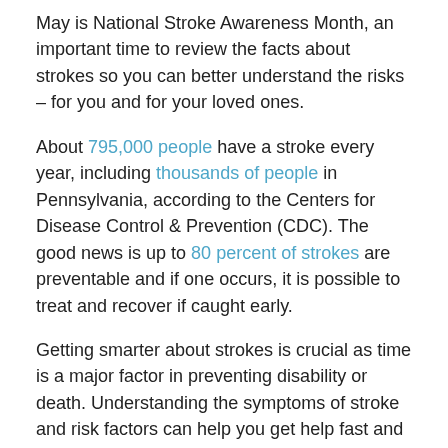May is National Stroke Awareness Month, an important time to review the facts about strokes so you can better understand the risks – for you and for your loved ones.
About 795,000 people have a stroke every year, including thousands of people in Pennsylvania, according to the Centers for Disease Control & Prevention (CDC). The good news is up to 80 percent of strokes are preventable and if one occurs, it is possible to treat and recover if caught early.
Getting smarter about strokes is crucial as time is a major factor in preventing disability or death. Understanding the symptoms of stroke and risk factors can help you get help fast and reduce your risks.